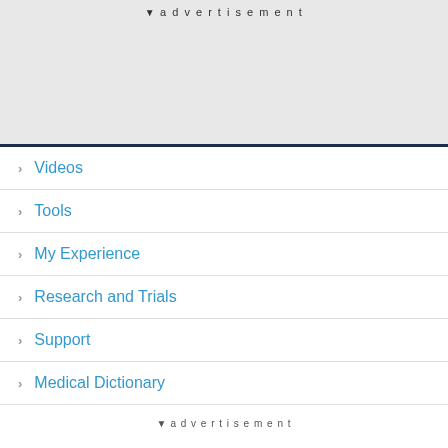[Figure (other): Advertisement banner placeholder (gray background)]
Videos
Tools
My Experience
Research and Trials
Support
Medical Dictionary
advertisement
myVMC Newsletter »
Join 20,000+ subscribers and receive the latest health news each month!
[Figure (other): Subscribe button with envelope icon and text CLICK HERE TO SUBSCRIBE]